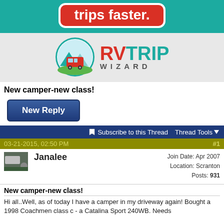[Figure (logo): RV Trip Wizard advertisement banner with red rounded box showing 'trips faster.' text on teal background, and RVTrip Wizard logo below on grey background]
New camper-new class!
New Reply
Subscribe to this Thread   Thread Tools
03-21-2015, 02:50 PM   #1
Janalee
Join Date: Apr 2007
Location: Scranton
Posts: 931
New camper-new class!
Hi all..Well, as of today I have a camper in my driveway again! Bought a 1998 Coachmen class c - a Catalina Sport 240WB. Needs